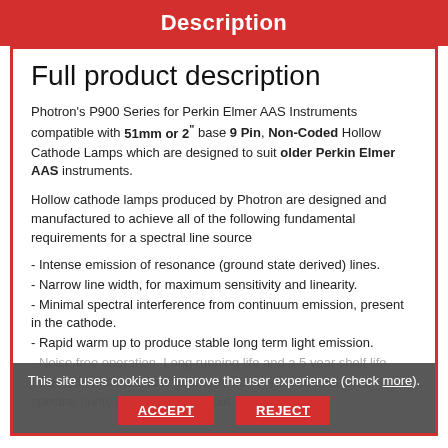Description
Full product description
Photron's P900 Series for Perkin Elmer AAS Instruments compatible with 51mm or 2" base 9 Pin, Non-Coded Hollow Cathode Lamps which are designed to suit older Perkin Elmer AAS instruments.
Hollow cathode lamps produced by Photron are designed and manufactured to achieve all of the following fundamental requirements for a spectral line source
- Intense emission of resonance (ground state derived) lines.
- Narrow line width, for maximum sensitivity and linearity.
- Minimal spectral interference from continuum emission, present in the cathode.
- Rapid warm up to produce stable long term light emission.
- Noise free operation. Long running life and a 5 year shelf life.
- Cathode materials and geometry achieve a combination of spectral purity and optimum output.
This site uses cookies to improve the user experience (check more).